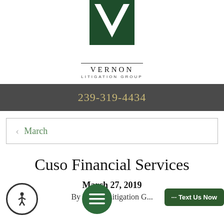[Figure (logo): Vernon Litigation Group logo — dark green square with white V chevron shape, text VERNON above a line and LITIGATION GROUP below]
239-319-4434
< March
Cuso Financial Services
March 27, 2019
By Vernon Litigation G...